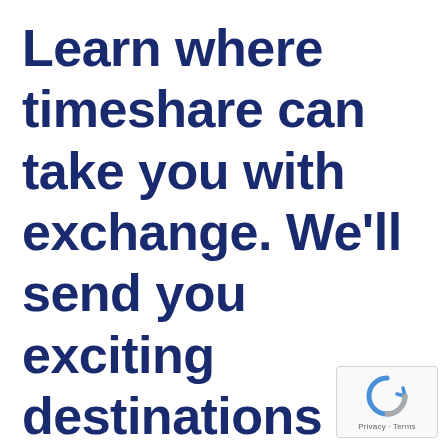Learn where timeshare can take you with exchange. We'll send you exciting destinations to cure your wanderlust
[Figure (logo): reCAPTCHA badge with circular arrow icon and Privacy/Terms text]